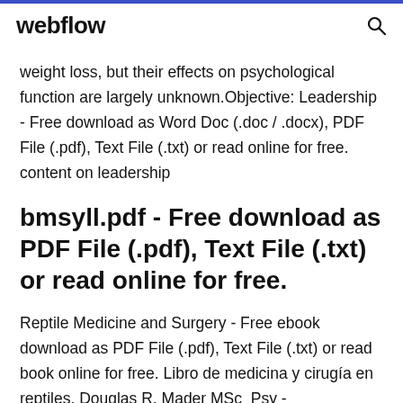webflow
weight loss, but their effects on psychological function are largely unknown.Objective: Leadership - Free download as Word Doc (.doc / .docx), PDF File (.pdf), Text File (.txt) or read online for free. content on leadership
bmsyll.pdf - Free download as PDF File (.pdf), Text File (.txt) or read online for free.
Reptile Medicine and Surgery - Free ebook download as PDF File (.pdf), Text File (.txt) or read book online for free. Libro de medicina y cirugía en reptiles. Douglas R. Mader MSc_Psy -